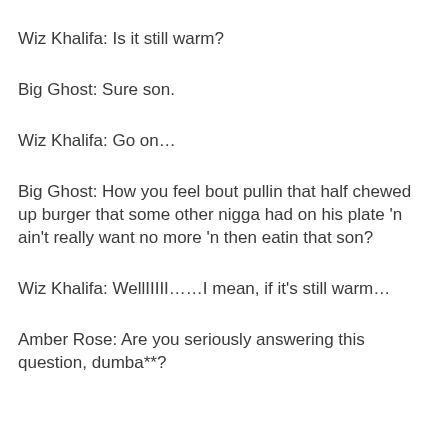Wiz Khalifa: Is it still warm?
Big Ghost: Sure son.
Wiz Khalifa: Go on…
Big Ghost: How you feel bout pullin that half chewed up burger that some other nigga had on his plate 'n ain't really want no more 'n then eatin that son?
Wiz Khalifa: WellIIIII……I mean, if it's still warm…
Amber Rose: Are you seriously answering this question, dumba**?